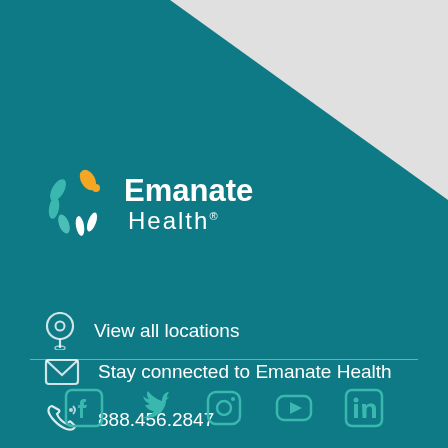[Figure (logo): Emanate Health logo with teal/green and orange/yellow sunburst icon on teal diagonal background]
View all locations
Stay connected to Emanate Health
888.456.2847
[Figure (infographic): Social media icons row: Facebook, Twitter, Instagram, YouTube, LinkedIn — all in teal on teal dark background]